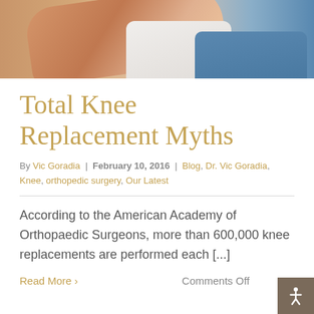[Figure (photo): Photo of a person's knee/leg being examined or held by a medical professional, with skin tones and a blue shirt visible in the background.]
Total Knee Replacement Myths
By Vic Goradia | February 10, 2016 | Blog, Dr. Vic Goradia, Knee, orthopedic surgery, Our Latest
According to the American Academy of Orthopaedic Surgeons, more than 600,000 knee replacements are performed each [...]
Read More >
Comments Off